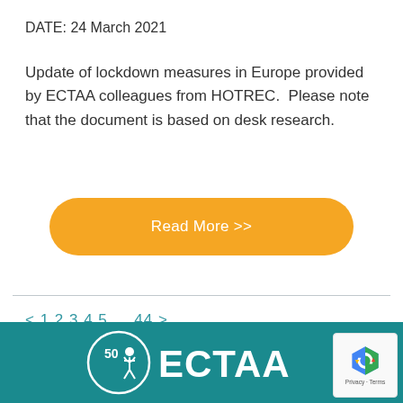DATE: 24 March 2021
Update of lockdown measures in Europe provided by ECTAA colleagues from HOTREC.  Please note that the document is based on desk research.
Read More >>
< 1 2 3 4 5 … 44 >
[Figure (logo): ECTAA logo on teal background footer]